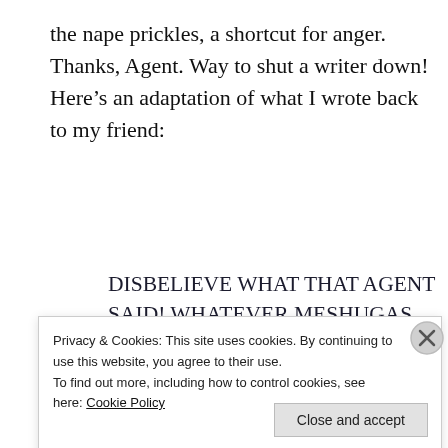the nape prickles, a shortcut for anger. Thanks, Agent. Way to shut a writer down! Here's an adaptation of what I wrote back to my friend:
DISBELIEVE WHAT THAT AGENT SAID! WHATEVER MESHUGAS THE AGENT SAID, WRITE THE AGENT'S WORDS ON A PIECE OF PAPER AND THEN BURN IT!!!!! KISS THAT ADVICE GOODBYE!
Privacy & Cookies: This site uses cookies. By continuing to use this website, you agree to their use.
To find out more, including how to control cookies, see here: Cookie Policy
Close and accept